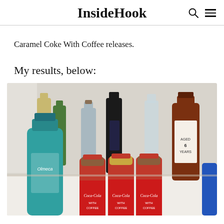InsideHook
Caramel Coke With Coffee releases.
My results, below:
[Figure (photo): Photo of multiple liquor bottles on a table alongside three Coca-Cola Coke With Coffee cans with red labels, set in a home bar environment.]